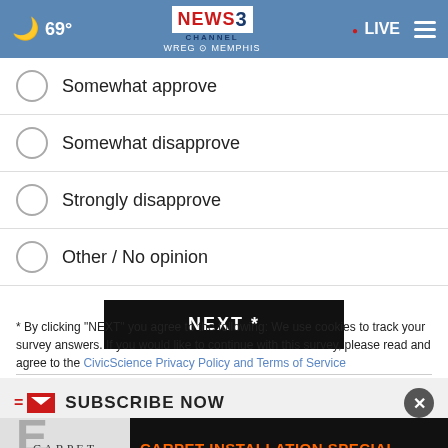69° NEWS CHANNEL 3 WREG MEMPHIS · LIVE
Somewhat approve
Somewhat disapprove
Strongly disapprove
Other / No opinion
NEXT *
* By clicking "NEXT" you agree to the following: We use cookies to track your survey answers. If you would like to continue with this survey, please read and agree to the CivicScience Privacy Policy and Terms of Service
SUBSCRIBE NOW
[Figure (screenshot): Carpet Spectrum advertisement: CARPET INSTALLATION SPECIAL 4 Rooms & a Hallway for $999! *up to 72 yards of carpet plus pad & labor CLICK HERE]